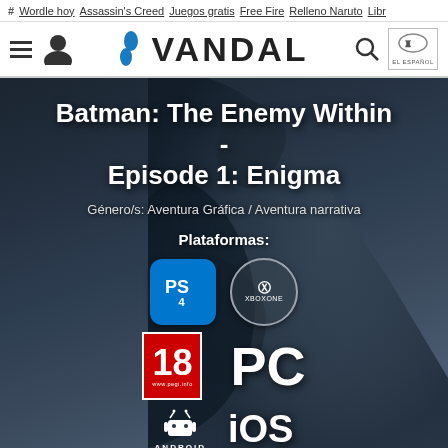# Wordle hoy  Assassin's Creed  Juegos gratis  Free Fire  Relleno Naruto  Libr
VANDAL
Batman: The Enemy Within - Episode 1: Enigma
Género/s: Aventura Gráfica / Aventura narrativa
Plataformas:
[Figure (logo): Platform logos: PS4, Xbox One, PC, Android, iOS, Nintendo Switch. Also PEGI 18 rating badge.]